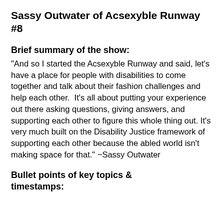Sassy Outwater of Acsexyble Runway #8
Brief summary of the show:
"And so I started the Acsexyble Runway and said, let's have a place for people with disabilities to come together and talk about their fashion challenges and help each other.  It's all about putting your experience out there asking questions, giving answers, and supporting each other to figure this whole thing out. It's very much built on the Disability Justice framework of supporting each other because the abled world isn't making space for that." ~Sassy Outwater
Bullet points of key topics & timestamps: